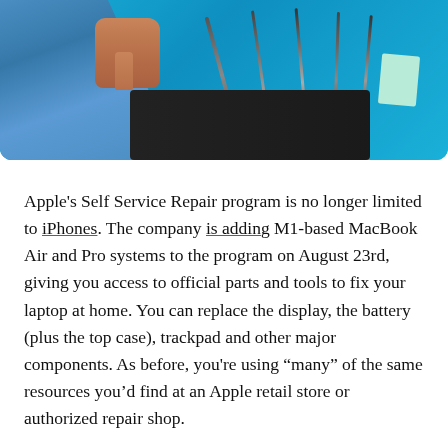[Figure (photo): A technician's hand working on electronics on a bright blue surface, with several screwdrivers and tools laid out, and a green sticky note in the corner.]
Apple's Self Service Repair program is no longer limited to iPhones. The company is adding M1-based MacBook Air and Pro systems to the program on August 23rd, giving you access to official parts and tools to fix your laptop at home. You can replace the display, the battery (plus the top case), trackpad and other major components. As before, you're using “many” of the same resources you’d find at an Apple retail store or authorized repair shop.
You’ll pay $49 to rent a repair kit. TechCrunch notes part pricing is the same as for third-party service centers, ranging from $12 for an audio board through to $580 for a motherboard. You’ll have to trade in your old parts to…